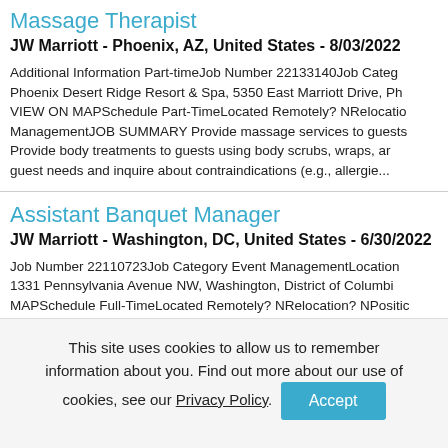Massage Therapist
JW Marriott - Phoenix, AZ, United States - 8/03/2022
Additional Information Part-timeJob Number 22133140Job Category Phoenix Desert Ridge Resort & Spa, 5350 East Marriott Drive, Ph VIEW ON MAPSchedule Part-TimeLocated Remotely? NRelocation ManagementJOB SUMMARY Provide massage services to guests Provide body treatments to guests using body scrubs, wraps, a guest needs and inquire about contraindications (e.g., allergie...
Assistant Banquet Manager
JW Marriott - Washington, DC, United States - 6/30/2022
Job Number 22110723Job Category Event ManagementLocation 1331 Pennsylvania Avenue NW, Washington, District of Columbi MAPSchedule Full-TimeLocated Remotely? NRelocation? NPositic SUMMARY Entry level management position that assists in leadir personally assisting in executing events based on requirements developing and directing team to provide consistent, high qualit
This site uses cookies to allow us to remember information about you. Find out more about our use of cookies, see our Privacy Policy.